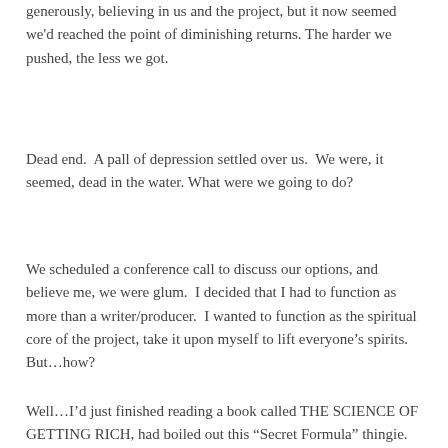generously, believing in us and the project, but it now seemed we'd reached the point of diminishing returns. The harder we pushed, the less we got.
Dead end.  A pall of depression settled over us.  We were, it seemed, dead in the water. What were we going to do?
We scheduled a conference call to discuss our options, and believe me, we were glum.  I decided that I had to function as more than a writer/producer.  I wanted to function as the spiritual core of the project, take it upon myself to lift everyone’s spirits.  But…how?
Well…I’d just finished reading a book called THE SCIENCE OF GETTING RICH, had boiled out this “Secret Formula” thingie.  And